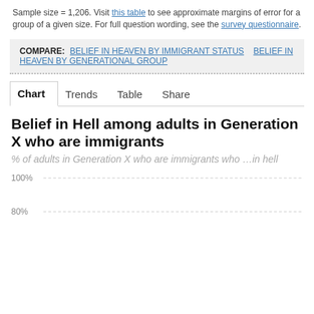Sample size = 1,206. Visit this table to see approximate margins of error for a group of a given size. For full question wording, see the survey questionnaire.
COMPARE: BELIEF IN HEAVEN BY IMMIGRANT STATUS   BELIEF IN HEAVEN BY GENERATIONAL GROUP
Chart   Trends   Table   Share
Belief in Hell among adults in Generation X who are immigrants
% of adults in Generation X who are immigrants who ...in hell
[Figure (bar-chart): Partial bar chart visible, showing y-axis gridlines at 100% and 80%, chart data not fully visible in this crop.]